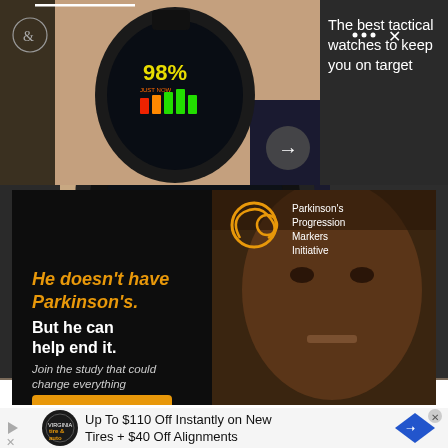[Figure (screenshot): Screenshot of a web article preview showing a close-up photo of a tactical smartwatch on a wrist displaying 98% battery/charge with colorful bar indicators, on a dark background. Top right shows text 'The best tactical watches to keep you on target' in white on dark gray. There are UI elements: an ampersand icon button, a three-dot menu, an X close button, and a right-arrow navigation button.]
[Figure (photo): Advertisement for Parkinson's Progression Markers Initiative. Black background with a close-up photo of a man's face on the right side. Left side shows a golden spiral logo and text: 'Parkinson's Progression Markers Initiative', then in orange 'He doesn't have Parkinson's.' then in white bold 'But he can help end it.' then 'Join the study that could change everything' and an orange button at bottom.]
[Figure (screenshot): Advertisement banner: Virginia Tire & Auto logo on left, text 'Up To $110 Off Instantly on New Tires + $40 Off Alignments', blue diamond navigation logo on right with X button. White background.]